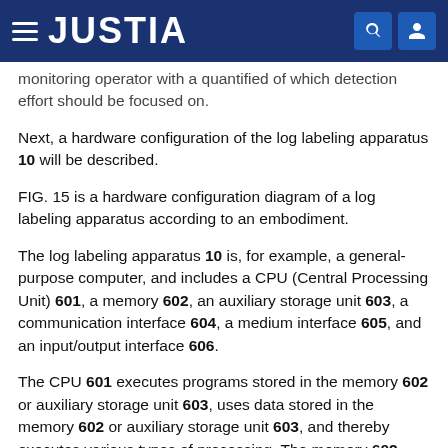JUSTIA
monitoring operator with a quantified of which detection effort should be focused on.
Next, a hardware configuration of the log labeling apparatus 10 will be described.
FIG. 15 is a hardware configuration diagram of a log labeling apparatus according to an embodiment.
The log labeling apparatus 10 is, for example, a general-purpose computer, and includes a CPU (Central Processing Unit) 601, a memory 602, an auxiliary storage unit 603, a communication interface 604, a medium interface 605, and an input/output interface 606.
The CPU 601 executes programs stored in the memory 602 or auxiliary storage unit 603, uses data stored in the memory 602 or auxiliary storage unit 603, and thereby executes various types of processing. The memory 602